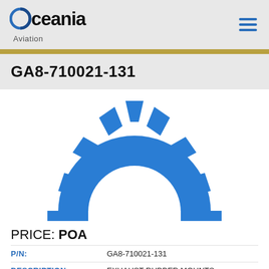Oceania Aviation
GA8-710021-131
[Figure (illustration): Blue half-gear / cog icon used as a placeholder product image for aviation parts]
PRICE: POA
P/N: GA8-710021-131
DESCRIPTION: EXHAUST RUBBER MOUNTS